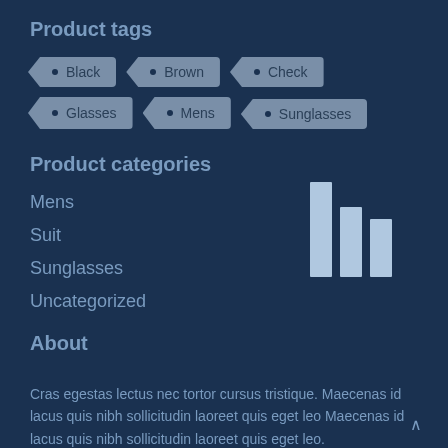Product tags
Black
Brown
Check
Glasses
Mens
Sunglasses
Product categories
Mens
Suit
Sunglasses
Uncategorized
[Figure (bar-chart): ]
About
Cras egestas lectus nec tortor cursus tristique. Maecenas id lacus quis nibh sollicitudin laoreet quis eget leo Maecenas id lacus quis nibh sollicitudin laoreet quis eget leo.